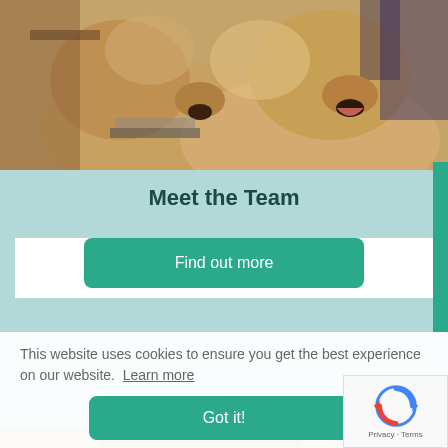[Figure (photo): Two golden retriever dogs sitting side by side, mouths open, indoors with a blurred background]
Meet the Team
Find out more
This website uses cookies to ensure you get the best experience on our website. Learn more
Got it!
[Figure (photo): Partial view of a dog, warm beige/golden tones, bottom of page]
[Figure (other): Google reCAPTCHA badge with Privacy and Terms text]